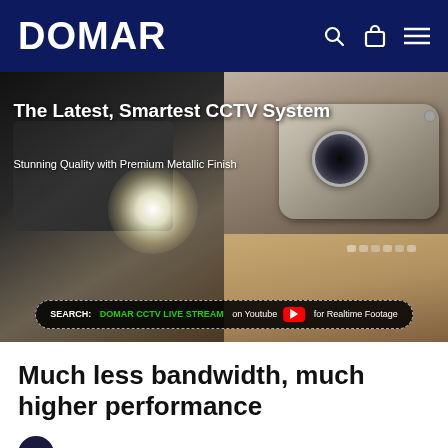DOMAR
[Figure (photo): Hero banner showing CCTV cameras with text overlay: 'The Latest, Smartest CCTV System — Stunning Quality with Premium Metallic Finish'. Bottom bar reads: SEARCH: DOMAR CCTV LIVE STREAM on Youtube [play button] for Realtime Footage]
Much less bandwidth, much higher performance
e kit will allow you longer recording time whether you